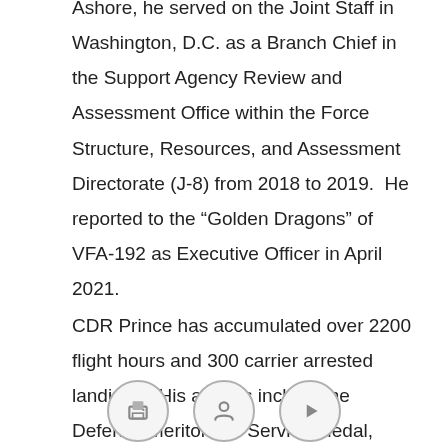Ashore, he served on the Joint Staff in Washington, D.C. as a Branch Chief in the Support Agency Review and Assessment Office within the Force Structure, Resources, and Assessment Directorate (J-8) from 2018 to 2019.  He reported to the “Golden Dragons” of VFA-192 as Executive Officer in April 2021.
CDR Prince has accumulated over 2200 flight hours and 300 carrier arrested landings.  His awards include the Defense Meritorious Service Medal, Strike/Flight Air Medal, Navy Commendation Medal and various other personal, campaign, and service awards.
[Figure (other): Three circular icon buttons at the bottom of the page, partially visible, with icons suggesting share/print, user/profile, and play/next actions.]